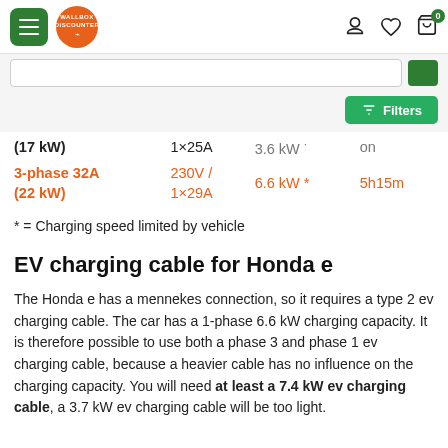Wallbox Discounter — navigation header with hamburger menu, logo, user/wishlist/cart icons
| Phase/Power | Outlet | Car capacity | Time |
| --- | --- | --- | --- |
| (17 kW) | 1×25A | 3.6 kW * | on |
| 3-phase 32A (22 kW) | 230V / 1×29A | 6.6 kW * | 5h15m |
* = Charging speed limited by vehicle
EV charging cable for Honda e
The Honda e has a mennekes connection, so it requires a type 2 ev charging cable. The car has a 1-phase 6.6 kW charging capacity. It is therefore possible to use both a phase 3 and phase 1 ev charging cable, because a heavier cable has no influence on the charging capacity. You will need at least a 7.4 kW ev charging cable, a 3.7 kW ev charging cable will be too light.